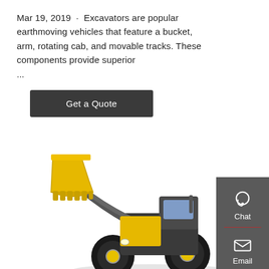Mar 19, 2019 · Excavators are popular earthmoving vehicles that feature a bucket, arm, rotating cab, and movable tracks. These components provide superior ...
Get a Quote
[Figure (photo): Yellow wheel loader / front loader construction vehicle with large bucket raised, shown on white background]
[Figure (infographic): Sidebar with Chat, Email, and Contact buttons with icons on dark gray background]